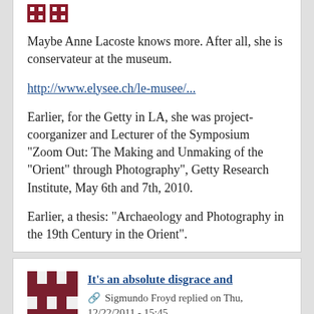Maybe Anne Lacoste knows more. After all, she is conservateur at the museum.
http://www.elysee.ch/le-musee/...
Earlier, for the Getty in LA, she was project-coorganizer and Lecturer of the Symposium "Zoom Out: The Making and Unmaking of the "Orient" through Photography", Getty Research Institute, May 6th and 7th, 2010.
Earlier, a thesis: "Archaeology and Photography in the 19th Century in the Orient".
[Figure (other): User avatar icon - dark red/maroon pixel art castle/crenellation pattern]
It's an absolute disgrace and
Sigmundo Froyd replied on Thu, 12/22/2011 - 15:45